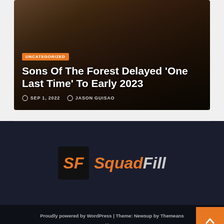[Figure (screenshot): Blog post card with dark background showing forest/nature scene. Contains category badge, article title, and metadata.]
Sons Of The Forest Delayed 'One Last Time' To Early 2023
SEP 1, 2022  JASON GUISAO
[Figure (logo): SquadFill logo with SF in orange on black box and SquadFill italic text in orange and gray]
Proudly powered by WordPress | Theme: Newsup by Themeans
Home